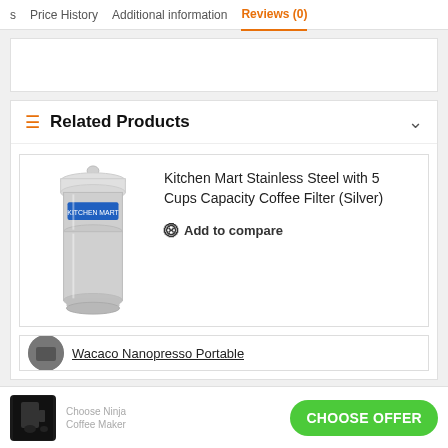Price History | Additional information | Reviews (0)
Related Products
Kitchen Mart Stainless Steel with 5 Cups Capacity Coffee Filter (Silver)
Add to compare
Wacaco Nanopresso Portable
CHOOSE OFFER